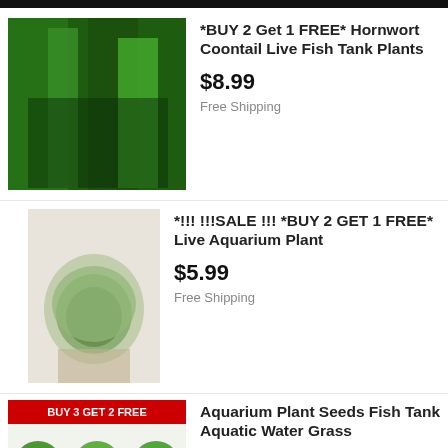[Figure (photo): Partial dark image at top of page (cropped from previous listing)]
[Figure (photo): Green aquatic plant (Hornwort/Coontail) in fish tank]
*BUY 2 Get 1 FREE* Hornwort Coontail Live Fish Tank Plants
$8.99
Free Shipping
[Figure (photo): Hand holding aquatic plant moss ball]
*!!! !!!SALE !!! *BUY 2 GET 1 FREE* Live Aquarium Plant
$5.99
Free Shipping
[Figure (photo): Aquarium plant seeds product image with BUY 3 GET 2 FREE badge, showing multiple green plant varieties in circular images]
Aquarium Plant Seeds Fish Tank Aquatic Water Grass
$2.27
Free Shipping
[Figure (photo): Cabomba Piauhyensis purple/magenta aquatic plant]
Cabomba Piauhyensis Purple Magenta Fresh-cut Live
$11.99
Free Shipping
[Figure (photo): Partial bottom image of aquarium plant listing]
10 PACK - Vallisneria